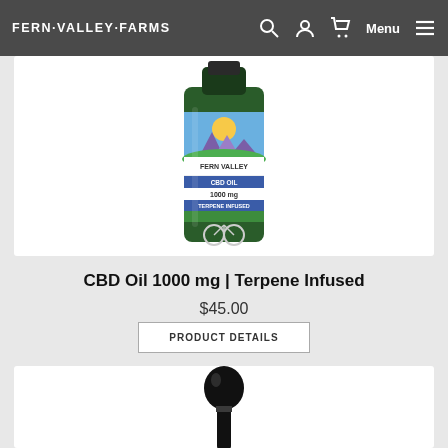FERN·VALLEY·FARMS
[Figure (photo): CBD Oil bottle with Fern Valley Farms label showing CBD Oil 1000mg Terpene Infused in a green glass dropper bottle]
CBD Oil 1000 mg | Terpene Infused
$45.00
PRODUCT DETAILS
[Figure (photo): Close-up of a black rubber dropper cap/pipette top of a CBD oil bottle]